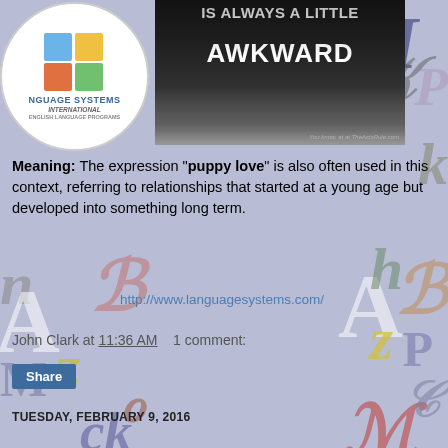[Figure (screenshot): Top area with Language Systems International logo (circular with puzzle pieces) on the left, and a meme image on the right showing text 'IS ALWAYS A LITTLE AWKWARD' on a dark background]
Meaning: The expression "puppy love" is also often used in this context, referring to relationships that started at a young age but developed into something long term.
http://www.languagesystems.com/
John Clark at 11:36 AM   1 comment:
Share
TUESDAY, FEBRUARY 9, 2016
To have the hots for someone (used as a verb)
First Example: